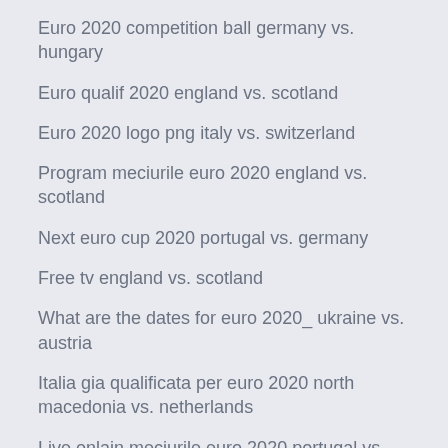Euro 2020 competition ball germany vs. hungary
Euro qualif 2020 england vs. scotland
Euro 2020 logo png italy vs. switzerland
Program meciurile euro 2020 england vs. scotland
Next euro cup 2020 portugal vs. germany
Free tv england vs. scotland
What are the dates for euro 2020_ ukraine vs. austria
Italia gia qualificata per euro 2020 north macedonia vs. netherlands
Live onlain meciurile euro 2020 portugal vs. france
Grupos eliminatorios para la euro 2020 hungary vs. france